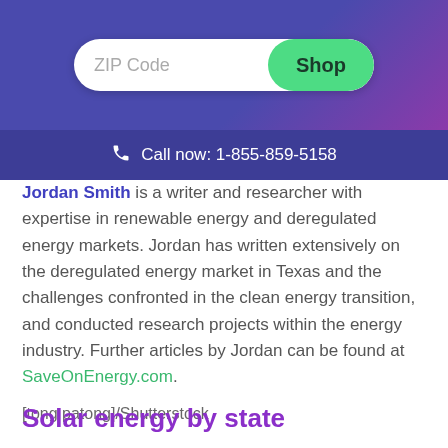[Figure (screenshot): Website header banner with gradient purple background containing a search bar with 'ZIP Code' placeholder and a green 'Shop' button]
Call now: 1-855-859-5158
Jordan Smith is a writer and researcher with expertise in renewable energy and deregulated energy markets. Jordan has written extensively on the deregulated energy market in Texas and the challenges confronted in the clean energy transition, and conducted research projects within the energy industry. Further articles by Jordan can be found at SaveOnEnergy.com.
[tong patong]/Shutterstock
Solar energy by state